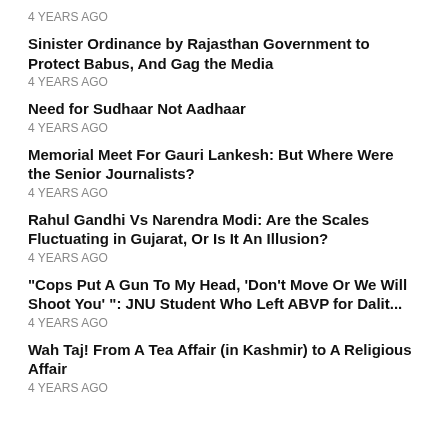4 YEARS AGO
Sinister Ordinance by Rajasthan Government to Protect Babus, And Gag the Media
4 YEARS AGO
Need for Sudhaar Not Aadhaar
4 YEARS AGO
Memorial Meet For Gauri Lankesh: But Where Were the Senior Journalists?
4 YEARS AGO
Rahul Gandhi Vs Narendra Modi: Are the Scales Fluctuating in Gujarat, Or Is It An Illusion?
4 YEARS AGO
"Cops Put A Gun To My Head, 'Don't Move Or We Will Shoot You'": JNU Student Who Left ABVP for Dalit...
4 YEARS AGO
Wah Taj! From A Tea Affair (in Kashmir) to A Religious Affair
4 YEARS AGO